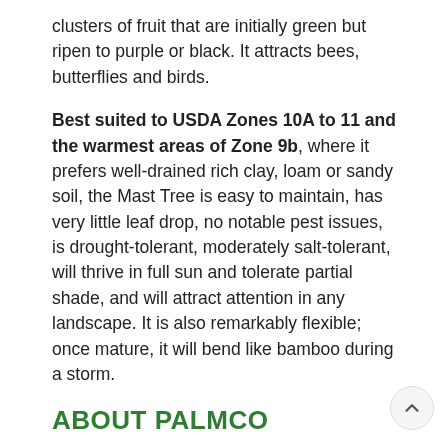clusters of fruit that are initially green but ripen to purple or black. It attracts bees, butterflies and birds.
Best suited to USDA Zones 10A to 11 and the warmest areas of Zone 9b, where it prefers well-drained rich clay, loam or sandy soil, the Mast Tree is easy to maintain, has very little leaf drop, no notable pest issues, is drought-tolerant, moderately salt-tolerant, will thrive in full sun and tolerate partial shade, and will attract attention in any landscape. It is also remarkably flexible; once mature, it will bend like bamboo during a storm.
ABOUT PALMCO
Palmco assists landscape contractors, architects and developers with everything they need to beautify